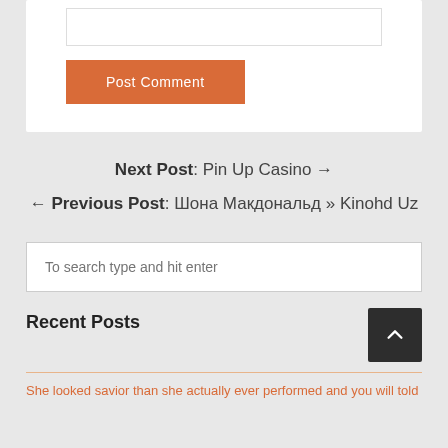[textarea input box]
Post Comment
Next Post: Pin Up Casino →
← Previous Post: Шона Макдональд » Kinohd Uz
To search type and hit enter
Recent Posts
She looked savior than she actually ever performed and you will told